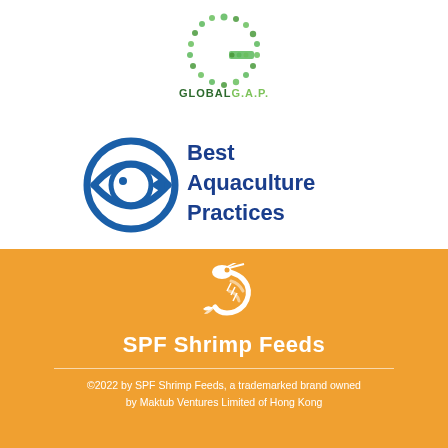[Figure (logo): GLOBALGAP logo — a green letter G made of leaf/plant shapes above the text GLOBALGAP in dark green and light green]
[Figure (logo): Best Aquaculture Practices logo — blue circular fish eye icon with the text Best Aquaculture Practices in dark blue bold font]
[Figure (logo): White shrimp icon on orange background]
SPF Shrimp Feeds
©2022 by SPF Shrimp Feeds, a trademarked brand owned by Maktub Ventures Limited of Hong Kong